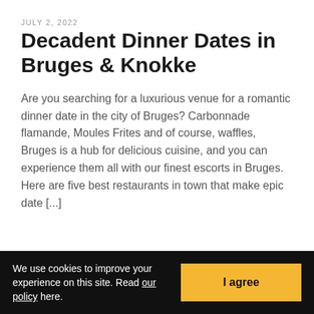JULY 2, 2022
Decadent Dinner Dates in Bruges & Knokke
Are you searching for a luxurious venue for a romantic dinner date in the city of Bruges? Carbonnade flamande, Moules Frites and of course, waffles, Bruges is a hub for delicious cuisine, and you can experience them all with our finest escorts in Bruges. Here are five best restaurants in town that make epic date [...]
We use cookies to improve your experience on this site. Read our policy here.